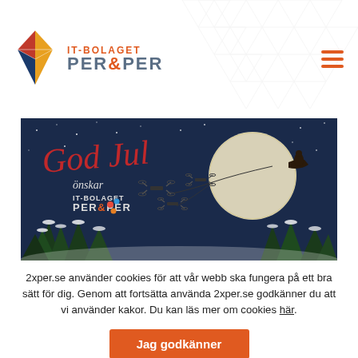[Figure (logo): IT-Bolaget PER & PER logo with diamond/gem shape in red, orange, yellow and dark blue/navy, with company name text 'IT-BOLAGET PER&PER']
[Figure (illustration): Christmas greeting card image with night sky, moon, Santa's sleigh pulled by drones instead of reindeer, snow-covered trees, text 'God Jul önskar IT-BOLAGET PER&PER']
2xper.se använder cookies för att vår webb ska fungera på ett bra sätt för dig. Genom att fortsätta använda 2xper.se godkänner du att vi använder kakor. Du kan läs mer om cookies här.
Jag godkänner